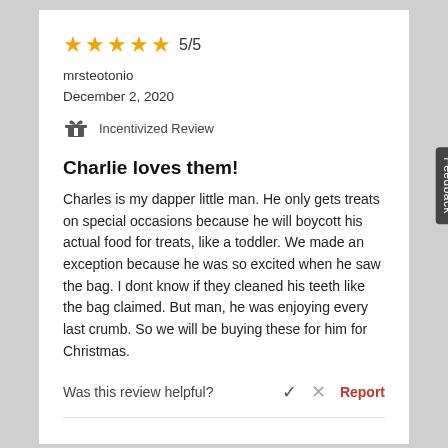[Figure (other): Five gold stars rating display with '5/5' text]
mrsteotonio
December 2, 2020
Incentivized Review
Charlie loves them!
Charles is my dapper little man. He only gets treats on special occasions because he will boycott his actual food for treats, like a toddler. We made an exception because he was so excited when he saw the bag. I dont know if they cleaned his teeth like the bag claimed. But man, he was enjoying every last crumb. So we will be buying these for him for Christmas.
Was this review helpful?   ✓   ✗   Report